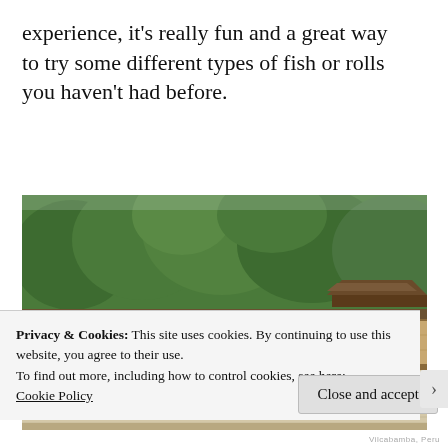experience, it's really fun and a great way to try some different types of fish or rolls you haven't had before.
[Figure (photo): A Japanese zen rock garden (karesansui) with raked gravel, moss-covered stones, and a traditional wall. Green trees and a temple roof visible in the background.]
Privacy & Cookies: This site uses cookies. By continuing to use this website, you agree to their use.
To find out more, including how to control cookies, see here: Cookie Policy